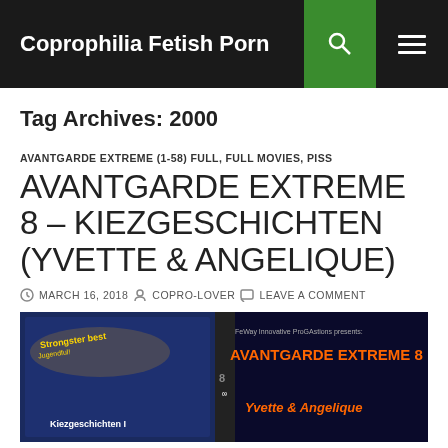Coprophilia Fetish Porn
Tag Archives: 2000
AVANTGARDE EXTREME (1-58) FULL, FULL MOVIES, PISS
AVANTGARDE EXTREME 8 – KIEZGESCHICHTEN (YVETTE & ANGELIQUE)
MARCH 16, 2018   COPRO-LOVER   LEAVE A COMMENT
[Figure (photo): DVD cover image for Avantgarde Extreme 8 – Kiezgeschichten featuring Yvette & Angelique]